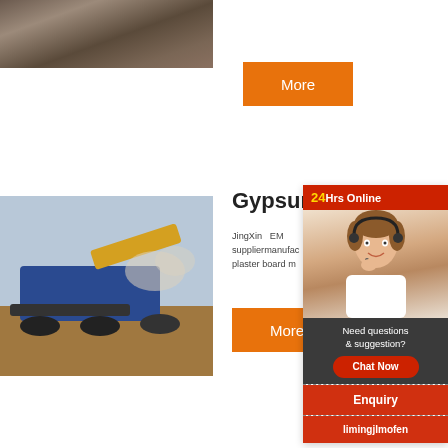[Figure (photo): Construction/industrial site photo at top left, partially cropped]
More
[Figure (photo): Blue mobile crushing machine operating outdoors with dust and excavator visible]
Gypsum R...ng
JingXin EM...o., suppliermanufac...in m plaster board m...su
More
[Figure (other): Chat widget with 24Hrs Online header, agent photo, Need questions & suggestion text, Chat Now button, Enquiry link, limingjlmofen link]